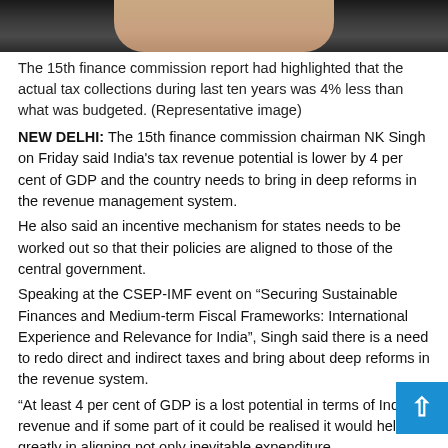[Figure (photo): Top portion of a dark photo showing a person, with skin-toned area visible at top center — representative image for finance commission article]
The 15th finance commission report had highlighted that the actual tax collections during last ten years was 4% less than what was budgeted. (Representative image)
NEW DELHI: The 15th finance commission chairman NK Singh on Friday said India's tax revenue potential is lower by 4 per cent of GDP and the country needs to bring in deep reforms in the revenue management system.
He also said an incentive mechanism for states needs to be worked out so that their policies are aligned to those of the central government.
Speaking at the CSEP-IMF event on “Securing Sustainable Finances and Medium-term Fiscal Frameworks: International Experience and Relevance for India”, Singh said there is a need to redo direct and indirect taxes and bring about deep reforms in the revenue system.
“At least 4 per cent of GDP is a lost potential in terms of India’s revenue and if some part of it could be realised it would help greatly in aligning not only inevitable expenditure